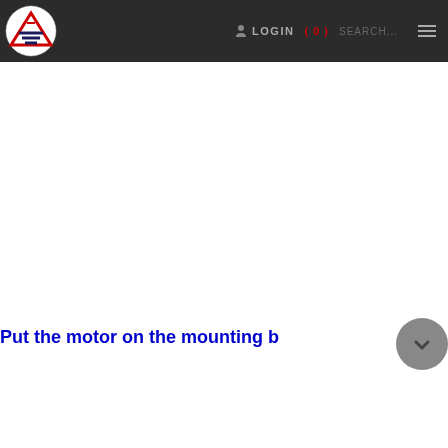LOGIN  ( 0 )  SEARCH...
[Figure (logo): Company logo with triangle and horizontal lines symbol inside a circle, red and dark navy colors]
Put the motor on the mounting b